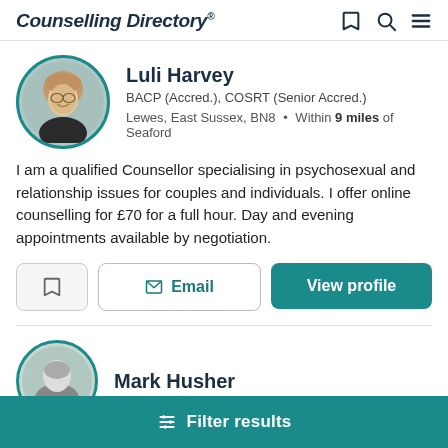Counselling Directory
Luli Harvey
BACP (Accred.), COSRT (Senior Accred.)
Lewes, East Sussex, BN8 • Within 9 miles of Seaford
I am a qualified Counsellor specialising in psychosexual and relationship issues for couples and individuals. I offer online counselling for £70 for a full hour. Day and evening appointments available by negotiation.
Email
View profile
Mark Husher
Filter results